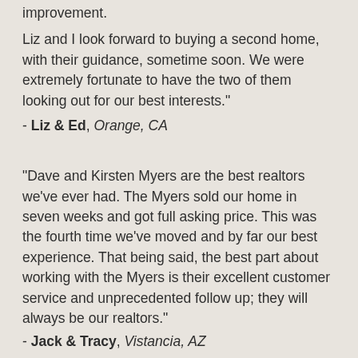improvement. Liz and I look forward to buying a second home, with their guidance, sometime soon. We were extremely fortunate to have the two of them looking out for our best interests."
- Liz & Ed, Orange, CA
"Dave and Kirsten Myers are the best realtors we've ever had. The Myers sold our home in seven weeks and got full asking price. This was the fourth time we've moved and by far our best experience. That being said, the best part about working with the Myers is their excellent customer service and unprecedented follow up; they will always be our realtors."
- Jack & Tracy, Vistancia, AZ